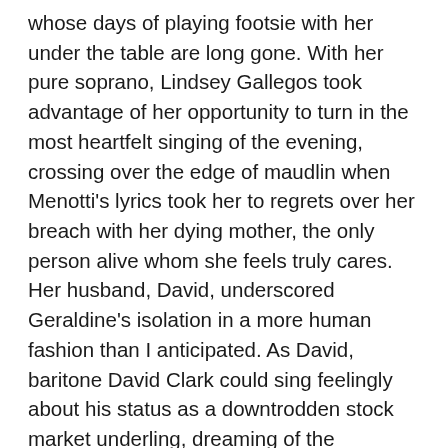whose days of playing footsie with her under the table are long gone. With her pure soprano, Lindsey Gallegos took advantage of her opportunity to turn in the most heartfelt singing of the evening, crossing over the edge of maudlin when Menotti's lyrics took her to regrets over her breach with her dying mother, the only person alive whom she feels truly cares. Her husband, David, underscored Geraldine's isolation in a more human fashion than I anticipated. As David, baritone David Clark could sing feelingly about his status as a downtrodden stock market underling, dreaming of the excesses he would indulge in if he were richer than his hateful boss Pritchett, until he realized that, even with fabulous wealth, he'd still be likely to spend humdrum bridge nights with Bill and Sally. So the materialistic David had a wider range of emotion than Clark to contrast with his wife. Altogether the closing quartet sketched the separate subterranean streams that run through the minds of